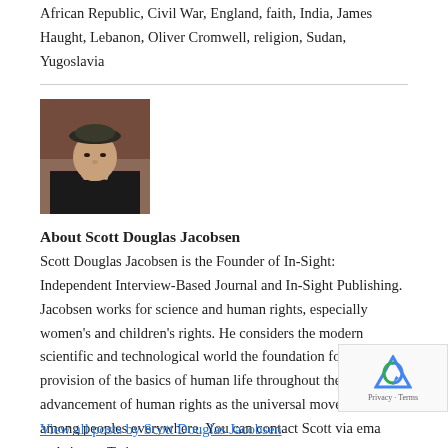African Republic, Civil War, England, faith, India, James Haught, Lebanon, Oliver Cromwell, religion, Sudan, Yugoslavia
[Figure (photo): Headshot photo of Scott Douglas Jacobsen wearing a dark cap, resting chin on hand]
About Scott Douglas Jacobsen
Scott Douglas Jacobsen is the Founder of In-Sight: Independent Interview-Based Journal and In-Sight Publishing. Jacobsen works for science and human rights, especially women's and children's rights. He considers the modern scientific and technological world the foundation for the provision of the basics of human life throughout the world and advancement of human rights as the universal movement among peoples everywhere. You can contact Scott via email, website, or Twitter.
View all posts by Scott Douglas Jacobsen